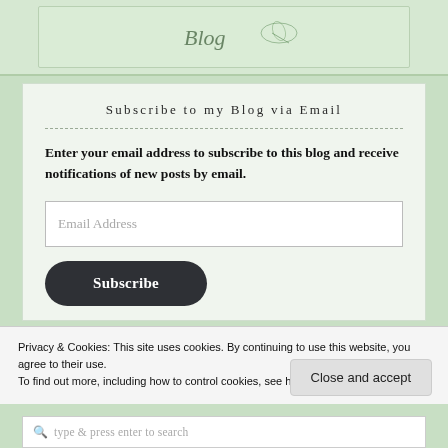[Figure (illustration): Top green banner area with decorative blog logo/header on light green background]
Subscribe to my Blog via Email
Enter your email address to subscribe to this blog and receive notifications of new posts by email.
[Figure (screenshot): Email Address input field (empty, placeholder text)]
[Figure (screenshot): Dark rounded Subscribe button]
Privacy & Cookies: This site uses cookies. By continuing to use this website, you agree to their use. To find out more, including how to control cookies, see here: Privacy Policy
[Figure (screenshot): Close and accept button]
[Figure (screenshot): Search bar at bottom with placeholder 'type & press enter to search']